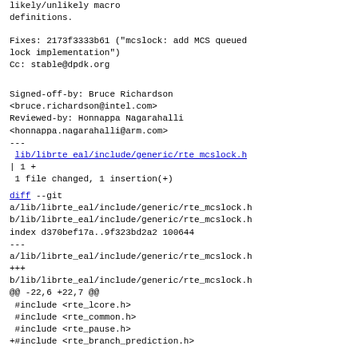likely/unlikely macro
definitions.
Fixes: 2173f3333b61 ("mcslock: add MCS queued
lock implementation")
Cc: stable@dpdk.org
Signed-off-by: Bruce Richardson
<bruce.richardson@intel.com>
Reviewed-by: Honnappa Nagarahalli
<honnappa.nagarahalli@arm.com>
---
 lib/librte_eal/include/generic/rte_mcslock.h
| 1 +
 1 file changed, 1 insertion(+)
diff --git
a/lib/librte_eal/include/generic/rte_mcslock.h
b/lib/librte_eal/include/generic/rte_mcslock.h
index d370bef17a..9f323bd2a2 100644
---
a/lib/librte_eal/include/generic/rte_mcslock.h
+++
b/lib/librte_eal/include/generic/rte_mcslock.h
@@ -22,6 +22,7 @@
 #include <rte_lcore.h>
 #include <rte_common.h>
 #include <rte_pause.h>
+#include <rte_branch_prediction.h>